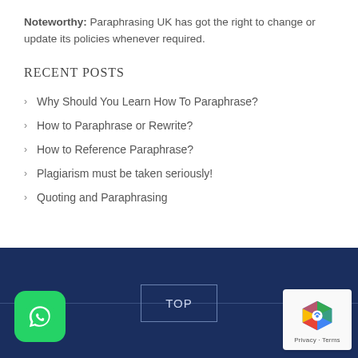Noteworthy: Paraphrasing UK has got the right to change or update its policies whenever required.
RECENT POSTS
Why Should You Learn How To Paraphrase?
How to Paraphrase or Rewrite?
How to Reference Paraphrase?
Plagiarism must be taken seriously!
Quoting and Paraphrasing
TOP